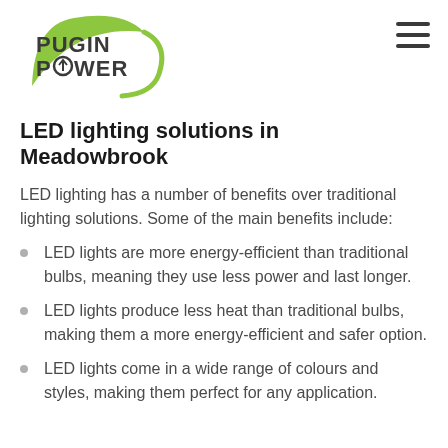[Figure (logo): Pugin Power logo with green swoosh/arc and dark text]
LED lighting solutions in Meadowbrook
LED lighting has a number of benefits over traditional lighting solutions. Some of the main benefits include:
LED lights are more energy-efficient than traditional bulbs, meaning they use less power and last longer.
LED lights produce less heat than traditional bulbs, making them a more energy-efficient and safer option.
LED lights come in a wide range of colours and styles, making them perfect for any application.